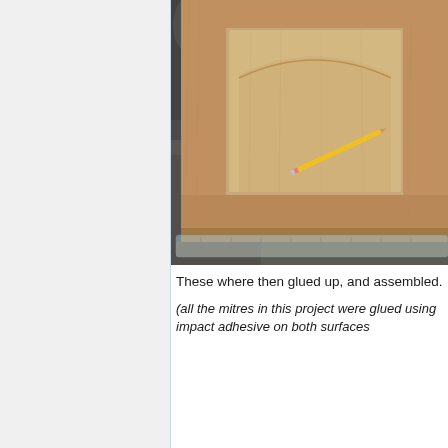[Figure (photo): A wooden cabinet door panel laid flat on a concrete floor. The door has a raised center panel with an arched top router profile. A pencil rests diagonally on the panel surface. A transparent plastic square/ruler is visible at the bottom edge. Background shows workshop equipment.]
These where then glued up, and assembled.
(all the mitres in this project were glued using impact adhesive on both surfaces